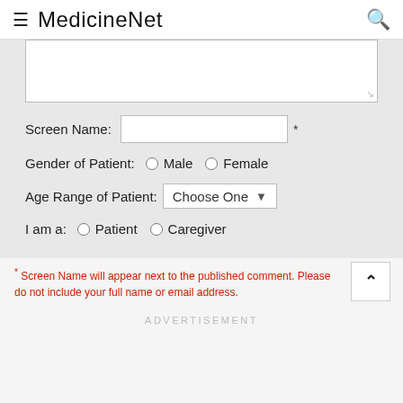MedicineNet
Screen Name: [input field] *
Gender of Patient: (radio) Male (radio) Female
Age Range of Patient: Choose One (dropdown)
I am a: (radio) Patient (radio) Caregiver
* Screen Name will appear next to the published comment. Please do not include your full name or email address.
ADVERTISEMENT